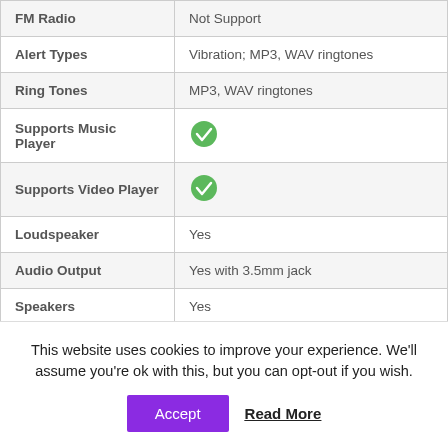| Feature | Value |
| --- | --- |
| FM Radio | Not Support |
| Alert Types | Vibration; MP3, WAV ringtones |
| Ring Tones | MP3, WAV ringtones |
| Supports Music Player | ✓ |
| Supports Video Player | ✓ |
| Loudspeaker | Yes |
| Audio Output | Yes with 3.5mm jack |
| Speakers | Yes |
This website uses cookies to improve your experience. We'll assume you're ok with this, but you can opt-out if you wish.